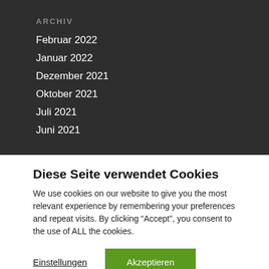ARCHIV
Februar 2022
Januar 2022
Dezember 2021
Oktober 2021
Juli 2021
Juni 2021
Diese Seite verwendet Cookies
We use cookies on our website to give you the most relevant experience by remembering your preferences and repeat visits. By clicking “Accept”, you consent to the use of ALL the cookies.
Einstellungen   Akzeptieren